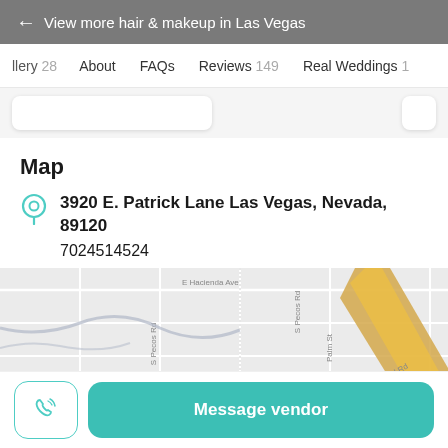← View more hair & makeup in Las Vegas
llery 28   About   FAQs   Reviews 149   Real Weddings 1
Map
3920 E. Patrick Lane Las Vegas, Nevada, 89120
7024514524
[Figure (map): Street map showing area around 3920 E. Patrick Lane, Las Vegas, NV 89120. Streets visible include E Hacienda Ave, S Pecos Rd, Palm St, S Pecos Rd. A green map pin labeled F&S Fitness is visible. A diagonal yellow road (highway) runs through the right portion of the map.]
Message vendor